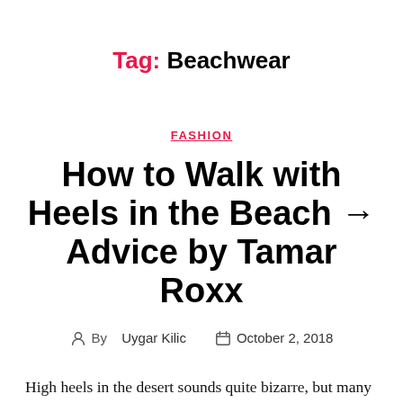Tag: Beachwear
FASHION
How to Walk with Heels in the Beach → Advice by Tamar Roxx
By Uygar Kilic  October 2, 2018
High heels in the desert sounds quite bizarre, but many of you have tried to walk on the desert/beach wearing